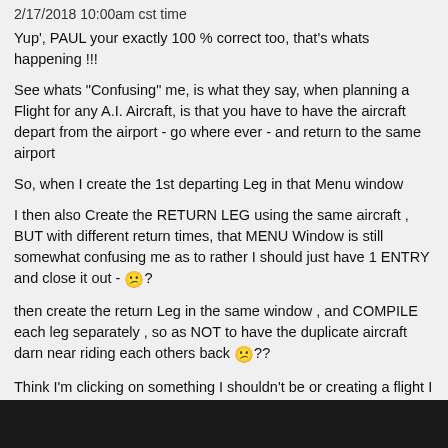2/17/2018 10:00am cst time
Yup', PAUL your exactly 100 % correct too, that's whats happening !!!
See whats "Confusing" me, is what they say, when planning a Flight for any A.I. Aircraft, is that you have to have the aircraft depart from the airport - go where ever - and return to the same airport
So, when I create the 1st departing Leg in that Menu window
I then also Create the RETURN LEG using the same aircraft , BUT with different return times, that MENU Window is still somewhat confusing me as to rather I should just have 1 ENTRY and close it out - 😕?
then create the return Leg in the same window , and COMPILE each leg separately , so as NOT to have the duplicate aircraft darn near riding each others back 😕??
Think I'm clicking on something I shouldn't be or creating a flight I don't need to be too many times ,,,,
I tried just creating 1 flight , thinking it automatically create the return leg back to the originating airport, which it did not, the program wouldn't let me compile it,,, anyway that way,,,
I'm getting the Aircraft to actually to finally show up at the specified times